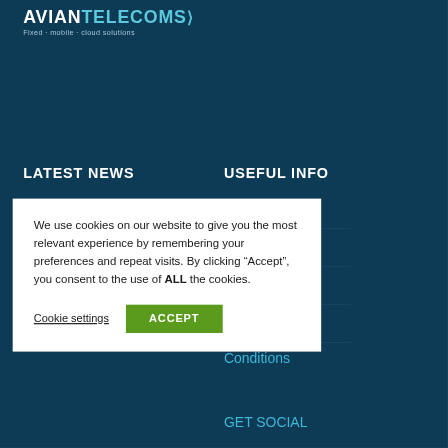[Figure (logo): Avian Telecoms logo with white and cyan text and tagline 'Fixed · mobile · cloud solutions']
LATEST NEWS
USEFUL INFO
> Special Offers Running On New Orders
> Case Studies
> Contact
> ...olicy
> ...ials
> ...Conditions
We use cookies on our website to give you the most relevant experience by remembering your preferences and repeat visits. By clicking “Accept”, you consent to the use of ALL the cookies.
Cookie settings   ACCEPT